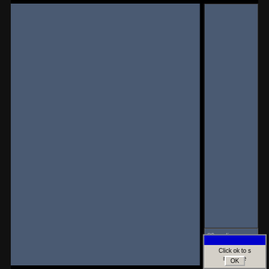[Figure (screenshot): Screenshot of a web forum or bulletin board interface with a dark blue-gray background. On the right side there is a stats box showing '89 replies | 1445 view(s)'. Below that is a dialog box with a blue title bar and the text 'Click ok to s... me nake...' and an OK button.]
89 replies | 1445 view(s)
Click ok to s me nake
OK